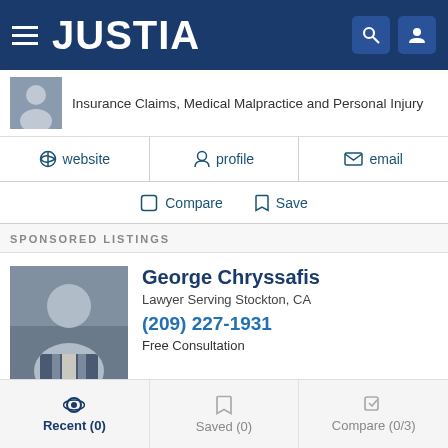JUSTIA
Insurance Claims, Medical Malpractice and Personal Injury
website  profile  email
Compare  Save
SPONSORED LISTINGS
George Chryssafis
Lawyer Serving Stockton, CA
(209) 227-1931
Free Consultation
Recent (0)  Saved (0)  Compare (0/3)